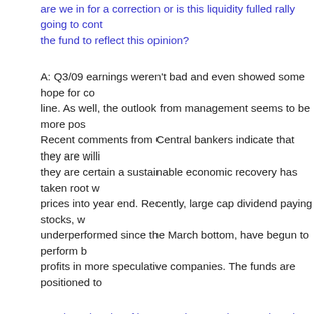are we in for a correction or is this liquidity fulled rally going to cont... the fund to reflect this opinion?
A: Q3/09 earnings weren't bad and even showed some hope for co... line. As well, the outlook from management seems to be more pos... Recent comments from Central bankers indicate that they are willi... they are certain a sustainable economic recovery has taken root w... prices into year end. Recently, large cap dividend paying stocks, w... underperformed since the March bottom, have begun to perform b... profits in more speculative companies. The funds are positioned to...
Q: Given the glut of inventory in natural gas and crude sitting at ap... your thoughts and predictions regarding the energy sector going fo...
A: From a secular perspective I am more bullish on Oil than Natura... and discoveries have led to an abundance of Natural Gas which ca... ground more cheaply whereas oil appears to be getting more diffic... to extract and has less elasticity of demand. Oil prices have held u... drop in Western demand over the last year.
Q: Given that cyclical stocks have outperformed defensives in thi...